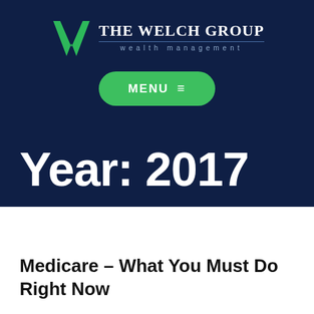[Figure (logo): The Welch Group wealth management logo with green W monogram and white text]
MENU ≡
Year: 2017
Medicare – What You Must Do Right Now